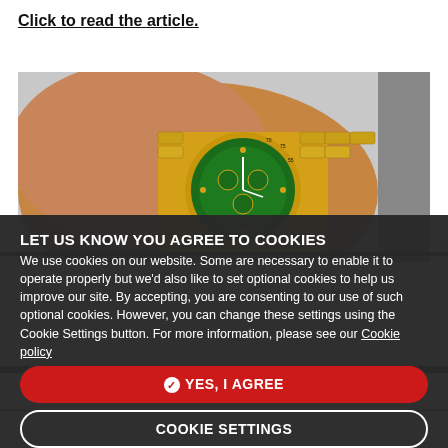Click to read the article.
[Figure (photo): A hand holding a gold Rolex Daytona watch with a green dial and gold bracelet, viewed from above against a light background.]
LET US KNOW YOU AGREE TO COOKIES
We use cookies on our website. Some are necessary to enable it to operate properly but we'd also like to set optional cookies to help us improve our site. By accepting, you are consenting to our use of such optional cookies. However, you can change these settings using the Cookie Settings button. For more information, please see our Cookie policy
YES, I AGREE
COOKIE SETTINGS